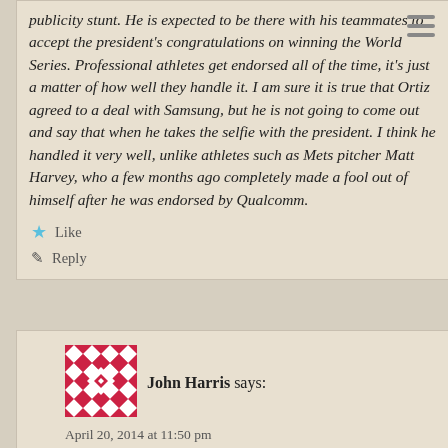publicity stunt. He is expected to be there with his teammates to accept the president's congratulations on winning the World Series. Professional athletes get endorsed all of the time, it's just a matter of how well they handle it. I am sure it is true that Ortiz agreed to a deal with Samsung, but he is not going to come out and say that when he takes the selfie with the president. I think he handled it very well, unlike athletes such as Mets pitcher Matt Harvey, who a few months ago completely made a fool out of himself after he was endorsed by Qualcomm.
Like
Reply
[Figure (illustration): Red and white geometric pattern avatar for John Harris]
John Harris says:
April 20, 2014 at 11:50 pm